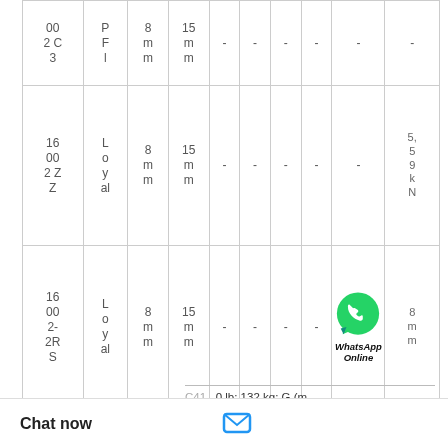| Model | Brand | Bore | OD | col5 | col6 | col7 | col8 | col9 | Load/Notes |
| --- | --- | --- | --- | --- | --- | --- | --- | --- | --- |
| 0020 2C 3 | PFI | 8mm | 15mm | - | - | - | - | - | - |
| 1600 2ZZ | Loyal | 8mm | 15mm | - | - | - | - | - | 5,559 kN |
| 1600 2-2RS | Loyal | 8mm | 15mm | - | - | - | - | WhatsApp Online | 8mm |
[Figure (logo): WhatsApp Online green phone icon with bold italic text 'WhatsApp Online']
[Figure (other): Close X button and three-dot menu widget (chat interface overlay)]
0 lb; 132 kg; G (m in; 7355 N; D25 M n; 9365 N; Couple